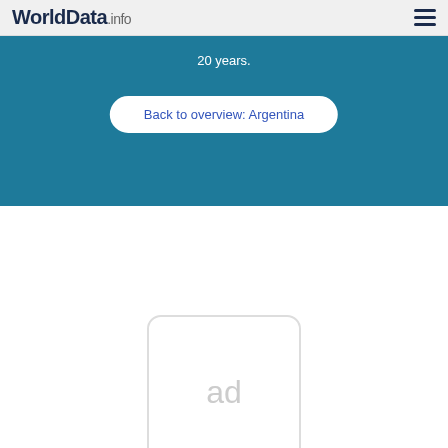WorldData.info
20 years.
Back to overview: Argentina
[Figure (other): Advertisement placeholder box with text 'ad']